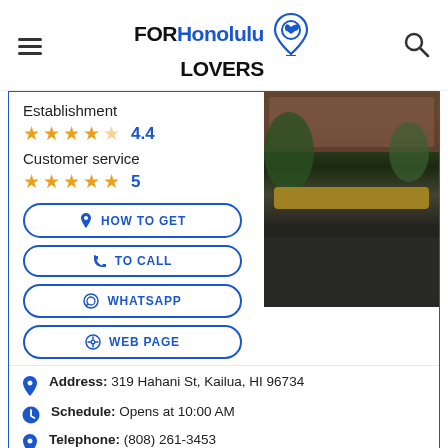FORHonolulu LOVERS
Establishment
★★★★☆ 4.4
Customer service
★★★★★ 5
[Figure (photo): Street view photo of a building with bicycles parked outside, trees and plants in foreground, parking lot/street in foreground]
HOW TO GET
TO CALL
WHATSAPP
WEB PAGE
Address: 319 Hahani St, Kailua, HI 96734
Schedule: Opens at 10:00 AM
Telephone: (808) 261-3453